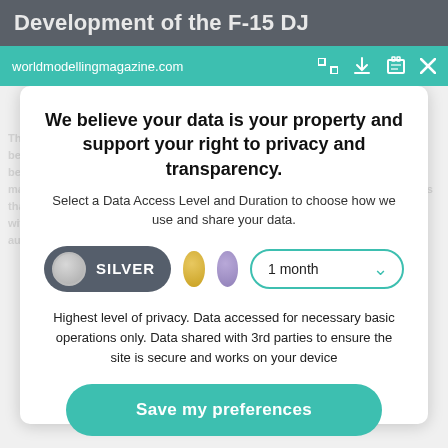Development of the F-15 DJ
worldmodellingmagazine.com
We believe your data is your property and support your right to privacy and transparency.
Select a Data Access Level and Duration to choose how we use and share your data.
[Figure (infographic): Privacy consent controls: SILVER toggle selected, gold circle, purple circle, and 1 month duration dropdown]
Highest level of privacy. Data accessed for necessary basic operations only. Data shared with 3rd parties to ensure the site is secure and works on your device
Save my preferences
Customize
Privacy policy